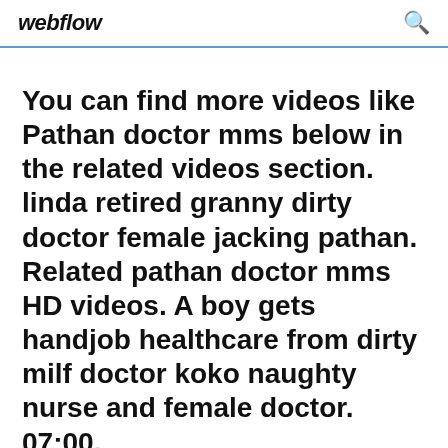webflow
You can find more videos like Pathan doctor mms below in the related videos section. linda retired granny dirty doctor female jacking pathan. Related pathan doctor mms HD videos. A boy gets handjob healthcare from dirty milf doctor koko naughty nurse and female doctor. 07:00.
Situs Download Film India Sub Indo Size Rendah Blackberry - Free download as PDF File